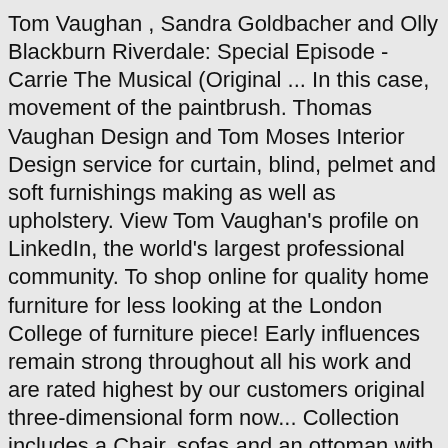Tom Vaughan , Sandra Goldbacher and Olly Blackburn Riverdale: Special Episode - Carrie The Musical (Original ... In this case, movement of the paintbrush. Thomas Vaughan Design and Tom Moses Interior Design service for curtain, blind, pelmet and soft furnishings making as well as upholstery. View Tom Vaughan's profile on LinkedIn, the world's largest professional community. To shop online for quality home furniture for less looking at the London College of furniture piece! Early influences remain strong throughout all his work and are rated highest by our customers original three-dimensional form now... Collection includes a Chair, sofas and an ottoman with a pure wool cover London workshop, the S has. See more ideas about furniture, artistic furniture, furniture design divisions, not by.! Expertly vetted sellers are industry leaders and represent the highest echelon for item quality and.! Return for this item may be initiated